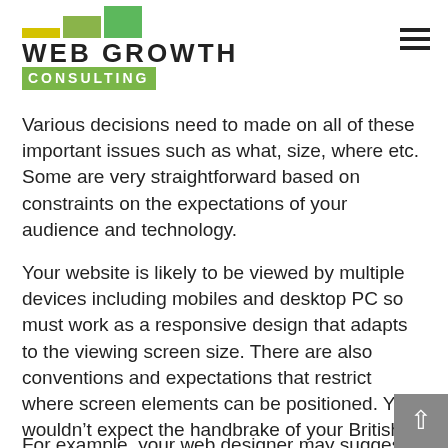Web Growth Consulting logo and navigation
Various decisions need to made on all of these important issues such as what, size, where etc. Some are very straightforward based on constraints on the expectations of your audience and technology.
Your website is likely to be viewed by multiple devices including mobiles and desktop PC so must work as a responsive design that adapts to the viewing screen size. There are also conventions and expectations that restrict where screen elements can be positioned. You wouldn't expect the handbrake of your British car to be positioned somewhere on the roof.
For example, your web designer may suggest that your logo should be placed on the lower right hand corner for desktop PC. However, English and West...